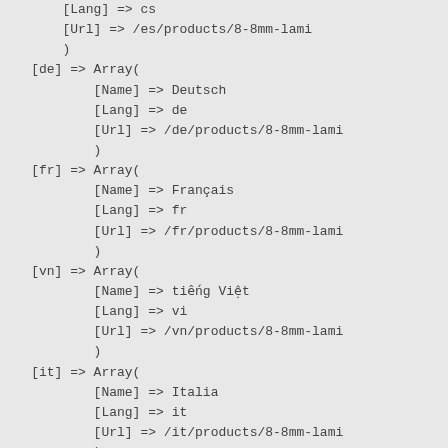[Lang] => cs
        [Url] => /es/products/8-8mm-lami
        )
[de] => Array(
        [Name] => Deutsch
        [Lang] => de
        [Url] => /de/products/8-8mm-lami
        )
[fr] => Array(
        [Name] => Français
        [Lang] => fr
        [Url] => /fr/products/8-8mm-lami
        )
[vn] => Array(
        [Name] => tiếng Việt
        [Lang] => vi
        [Url] => /vn/products/8-8mm-lami
        )
[it] => Array(
        [Name] => Italia
        [Lang] => it
        [Url] => /it/products/8-8mm-lami
        )
[ru] => Array(